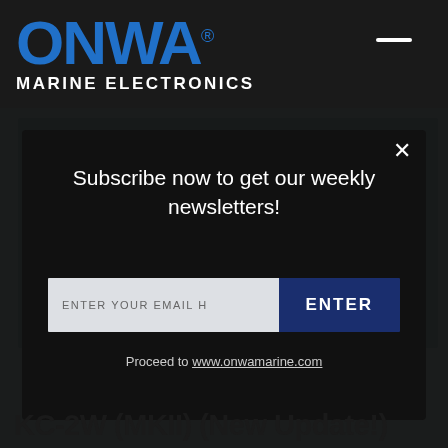[Figure (logo): ONWA Marine Electronics logo — blue bold ONWA text with registered mark, white MARINE ELECTRONICS subtitle, on dark background]
KC-2W (MKII) (New Update!)
[Figure (screenshot): Newsletter subscription modal popup overlay on ONWA Marine Electronics product page. Modal contains: heading 'Subscribe now to get our weekly newsletters!', an email input field labeled 'ENTER YOUR EMAIL H', a dark navy ENTER button, and a 'Proceed to www.onwamarine.com' link. Background shows partial product image with camera device and text 'included'.]